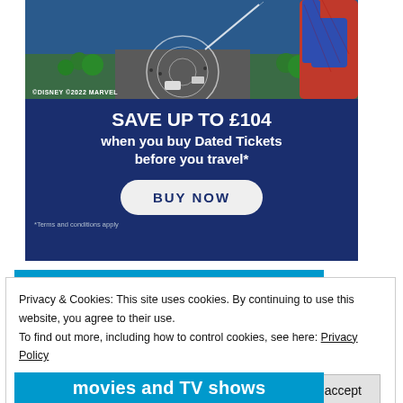[Figure (illustration): Disney/Marvel Disneyland Paris advertisement showing an aerial view of a theme park with Spider-Man character on the right side. Dark blue background with text promoting ticket savings.]
©DISNEY ©2022 MARVEL
SAVE UP TO £104 when you buy Dated Tickets before you travel*
BUY NOW
*Terms and conditions apply
Privacy & Cookies: This site uses cookies. By continuing to use this website, you agree to their use.
To find out more, including how to control cookies, see here: Privacy Policy
Close and accept
movies and TV shows